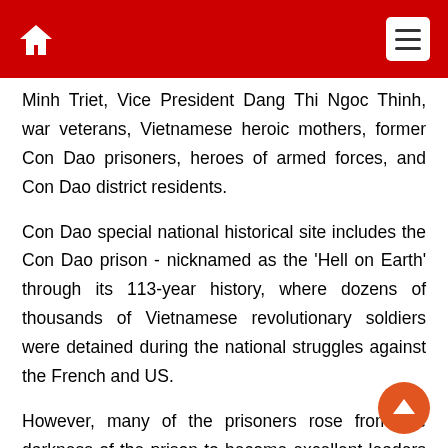Minh Triet, Vice President Dang Thi Ngoc Thinh, war veterans, Vietnamese heroic mothers, former Con Dao prisoners, heroes of armed forces, and Con Dao district residents.
Con Dao special national historical site includes the Con Dao prison - nicknamed as the 'Hell on Earth' through its 113-year history, where dozens of thousands of Vietnamese revolutionary soldiers were detained during the national struggles against the French and US.
However, many of the prisoners rose from the darkness of the prison to become excellent leaders of the Party and State, including comrades Le Hong Phong, Nguyen